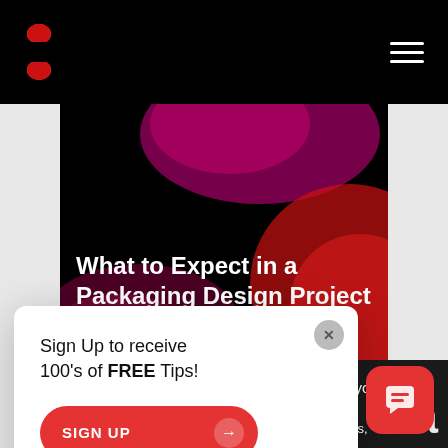[Figure (screenshot): Website screenshot showing a blog post hero image with dark background and abstract red/purple shapes, titled 'What to Expect in a Packaging Design Project – Blog 345']
What to Expect in a Packaging Design Project
– Blog 345
Branding  Marketing
Sign Up to receive 100's of FREE Tips!
improve your
're ok with this,
ish.   Cookie
Accept
SIGN UP